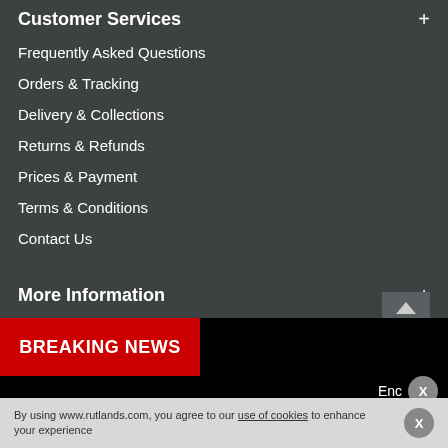Customer Services
Frequently Asked Questions
Orders & Tracking
Delivery & Collections
Returns & Refunds
Prices & Payment
Terms & Conditions
Contact Us
More Information
Frequently Asked Questions
About Us
Trustpilot Reviews
BREAKING NEWS
Enc
By using www.rutlands.com, you agree to our use of cookies to enhance your experience